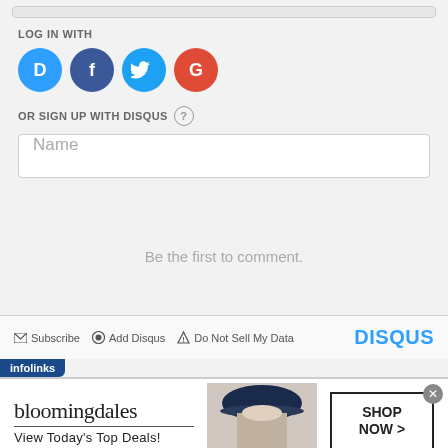LOG IN WITH
[Figure (illustration): Four social login icons: Disqus (blue circle with D), Facebook (dark blue circle with f), Twitter (light blue circle with bird), Google (red circle with G)]
OR SIGN UP WITH DISQUS ?
Name
Be the first to comment.
Subscribe  Add Disqus  Do Not Sell My Data  DISQUS
[Figure (illustration): infolinks advertisement banner for Bloomingdale's: 'View Today's Top Deals!' with SHOP NOW > button and model photo]